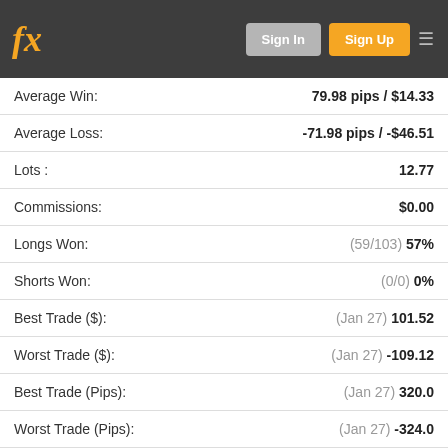fx | Sign In | Sign Up
| Metric | Value |
| --- | --- |
| Average Win: | 79.98 pips / $14.33 |
| Average Loss: | -71.98 pips / -$46.51 |
| Lots : | 12.77 |
| Commissions: | $0.00 |
| Longs Won: | (59/103) 57% |
| Shorts Won: | (0/0) 0% |
| Best Trade ($): | (Jan 27) 101.52 |
| Worst Trade ($): | (Jan 27) -109.12 |
| Best Trade (Pips): | (Jan 27) 320.0 |
| Worst Trade (Pips): | (Jan 27) -324.0 |
| Avg. Trade Length: | 4d |